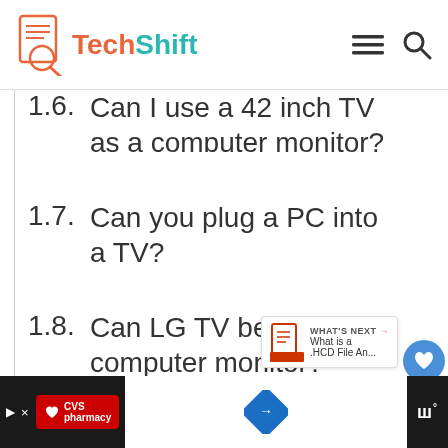TechShift
1.6. Can I use a 42 inch TV as a computer monitor?
1.7. Can you plug a PC into a TV?
1.8. Can LG TV be used as computer monitor?
1.9. Does a TV monitor hurt your eyes?
[Figure (screenshot): WHAT'S NEXT arrow panel showing 'What is a .HCD File An...']
[Figure (screenshot): Ad bar at bottom with CVS Pharmacy logo, road sign icon, and dots logo]